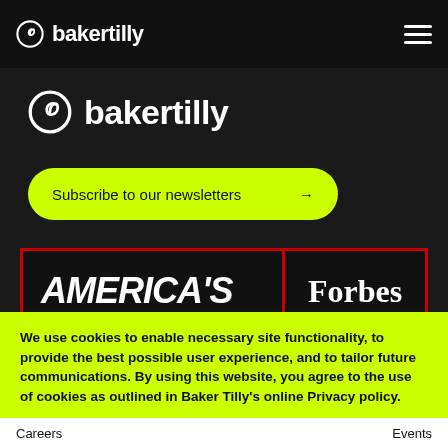bakertilly
[Figure (logo): Baker Tilly logo with spiral icon and text 'bakertilly' in white on dark background]
Subscribe to our newsletters →
[Figure (other): America's Forbes banner with red border on black background]
We use cookies to enable necessary site functionality, to provide the best possible user experience, and to tailor future communications. By using this website, you agree to the use of cookies as outlined in Baker Tilly's online Privacy policy.
Yes  No  Cookies & tracking
Careers    Events